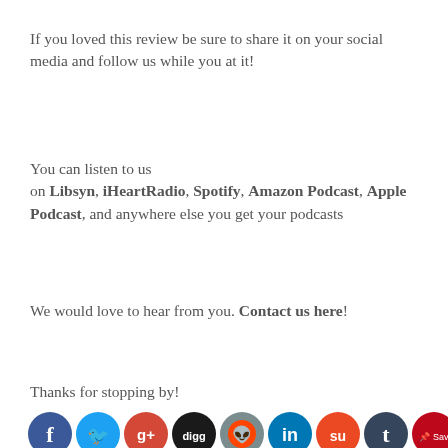If you loved this review be sure to share it on your social media and follow us while you at it!
You can listen to us on Libsyn, iHeartRadio, Spotify, Amazon Podcast, Apple Podcast, and anywhere else you get your podcasts
We would love to hear from you. Contact us here!
Thanks for stopping by!
[Figure (illustration): Row of social media icon circles: Facebook, Twitter, Google+, Digg, Reddit, LinkedIn, StumbleUpon, Tumblr, Pinterest Save, Email]